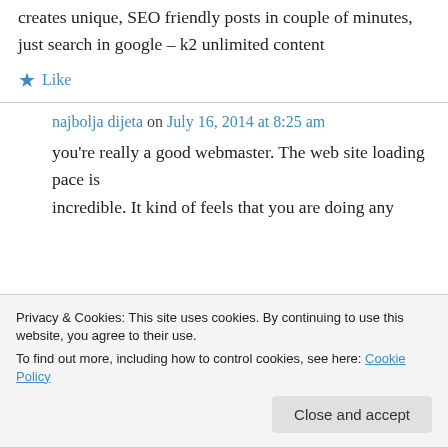creates unique, SEO friendly posts in couple of minutes, just search in google – k2 unlimited content
★ Like
najbolja dijeta on July 16, 2014 at 8:25 am
you're really a good webmaster. The web site loading pace is incredible. It kind of feels that you are doing any
Privacy & Cookies: This site uses cookies. By continuing to use this website, you agree to their use. To find out more, including how to control cookies, see here: Cookie Policy
Close and accept